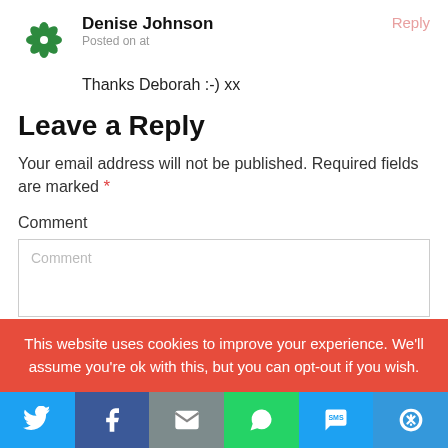Denise Johnson
Posted on at
Reply
Thanks Deborah :-) xx
Leave a Reply
Your email address will not be published. Required fields are marked *
Comment
This website uses cookies to improve your experience. We'll assume you're ok with this, but you can opt-out if you wish.